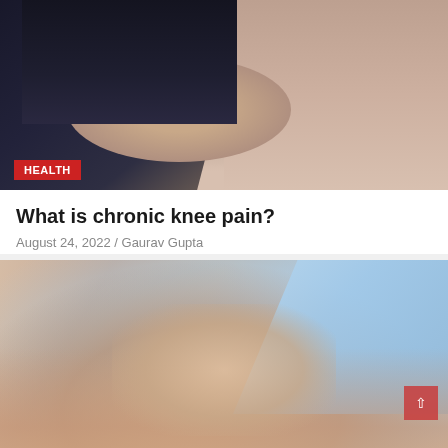[Figure (photo): Close-up photo of a person's knee, wearing dark pants, with hands holding the knee area, suggesting knee pain. A red HEALTH badge is in the lower left corner.]
What is chronic knee pain?
August 24, 2022 / Gaurav Gupta
[Figure (photo): Close-up photo of baby hands resting on adult hands, with a baby wearing a light blue outfit. A red HEALTH badge is in the lower left corner. A red scroll-to-top button with an up arrow is visible in the lower right.]